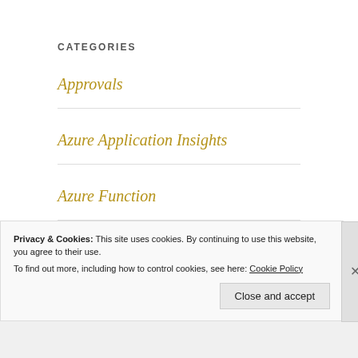CATEGORIES
Approvals
Azure Application Insights
Azure Function
Batching
Caching
Privacy & Cookies: This site uses cookies. By continuing to use this website, you agree to their use.
To find out more, including how to control cookies, see here: Cookie Policy
Close and accept